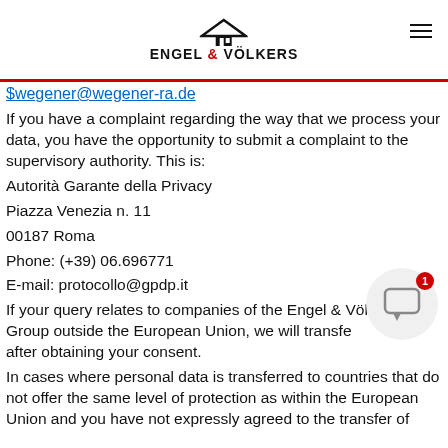ENGEL & VÖLKERS
$wegener@wegener-ra.de
If you have a complaint regarding the way that we process your data, you have the opportunity to submit a complaint to the supervisory authority. This is:
Autorità Garante della Privacy
Piazza Venezia n. 11
00187 Roma
Phone: (+39) 06.696771
E-mail: protocollo@gpdp.it
If your query relates to companies of the Engel & Völkers Group outside the European Union, we will transfer data after obtaining your consent.
In cases where personal data is transferred to countries that do not offer the same level of protection as within the European Union and you have not expressly agreed to the transfer of